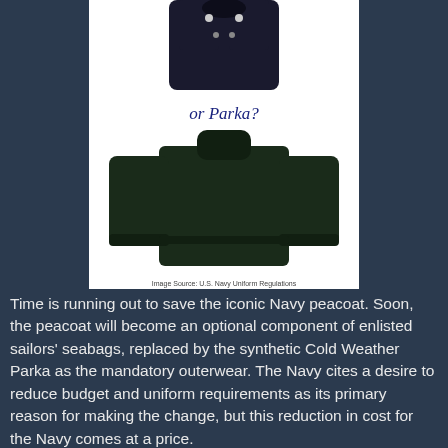[Figure (photo): Photo collage showing a Navy peacoat (top) and a Cold Weather Parka (bottom) on a white background, with text 'or Parka?' in between. Caption reads 'Image Source: U.S. Navy Uniform Regulations']
Time is running out to save the iconic Navy peacoat. Soon, the peacoat will become an optional component of enlisted sailors' seabags, replaced by the synthetic Cold Weather Parka as the mandatory outerwear. The Navy cites a desire to reduce budget and uniform requirements as its primary reason for making the change, but this reduction in cost for the Navy comes at a price.
For more than a century, the peacoat has been a staple in the seabags of new-enlisted sailors. It is one of the most iconic and recognizable symbols of a strong U.S. Navy. Its